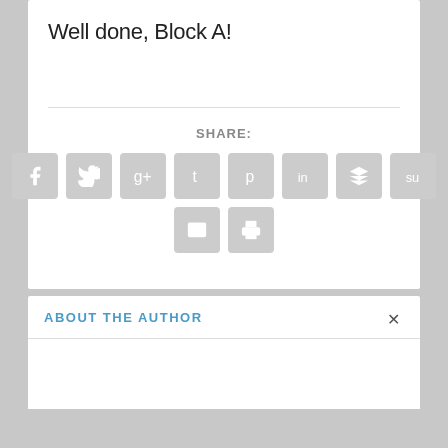Well done, Block A!
SHARE:
[Figure (infographic): Social sharing icon buttons arranged in two rows: Facebook, Twitter, Google+, Tumblr, Pinterest, LinkedIn, Buffer/Layers, StumbleUpon in the first row; Email and Print in the second row. All icons are gray rounded squares with white symbols.]
ABOUT THE AUTHOR